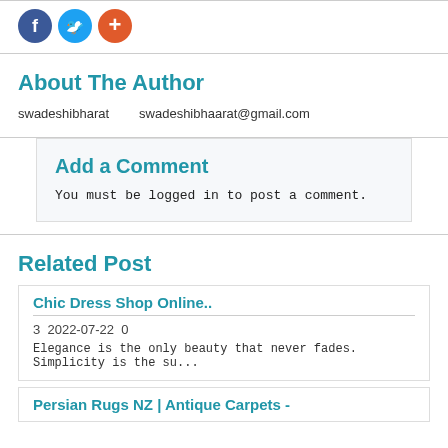[Figure (illustration): Three social media icons: Facebook (blue), Twitter (cyan), and a plus/share button (orange-red)]
About The Author
swadeshibharat    swadeshibhaarat@gmail.com
Add a Comment
You must be logged in to post a comment.
Related Post
Chic Dress Shop Online..
3  2022-07-22  0
Elegance is the only beauty that never fades. Simplicity is the su...
Persian Rugs NZ | Antique Carpets -